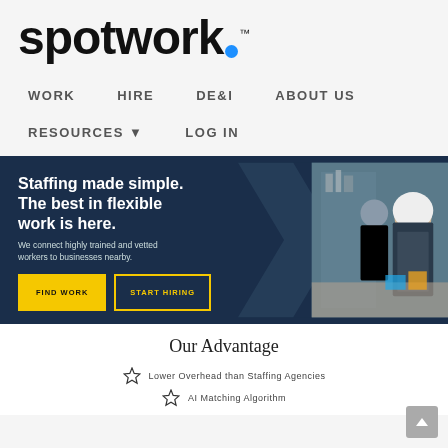[Figure (logo): Spotwork logo with blue dot and TM superscript]
WORK   HIRE   DE&I   ABOUT US
RESOURCES ▾   LOG IN
[Figure (photo): Hero banner with dark navy background showing two cafe workers. Text: Staffing made simple. The best in flexible work is here. We connect highly trained and vetted workers to businesses nearby. Buttons: FIND WORK, START HIRING]
Our Advantage
Lower Overhead than Staffing Agencies
AI Matching Algorithm